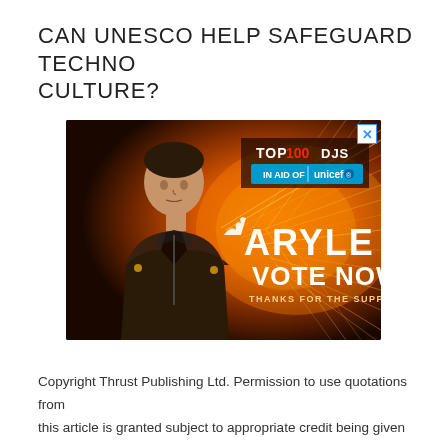CAN UNESCO HELP SAFEGUARD TECHNO CULTURE?
[Figure (photo): Advertisement banner for Top 100 DJs in aid of UNICEF, featuring DJ Aryle in a leather jacket against an orange swirling light background with text 'VOTE NOW' and 'THANKS FOR THE SUPPORT']
Copyright Thrust Publishing Ltd. Permission to use quotations from this article is granted subject to appropriate credit being given